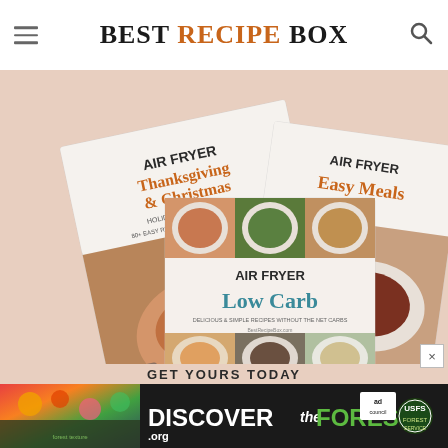BEST RECIPE BOX
[Figure (photo): Three cookbook covers fanned out against a pinkish-beige background: 'Air Fryer Thanksgiving & Christmas Holiday Survival Guide', 'Air Fryer Easy Meals', and 'Air Fryer Low Carb' with food photos on covers.]
GET YOURS TODAY
[Figure (photo): Advertisement banner for DISCOVERtheFOREST.org with colorful forest imagery, Ad Council logo, and US Forest Service badge.]